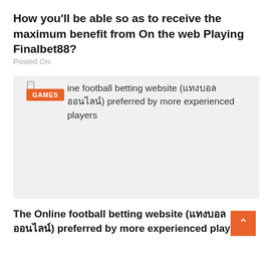How you'll be able so as to receive the maximum benefit from On the web Playing Finalbet88?
Posted On:
[Figure (screenshot): Card image with GAMES tag and text: Online football betting website (thai text) preferred by more experienced players, over a light gray background]
The Online football betting website (thai text) preferred by more experienced players